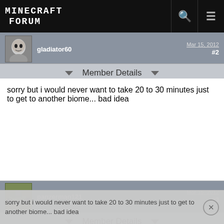Minecraft Forum
gladiator60    Mar 15, 2012  #2
Member Details
sorry but i would never want to take 20 to 30 minutes just to get to another biome... bad idea
panzerman121    Mar 15, 2012  #3
Member Details
Quote from gladiator60
sorry but i would never want to take 20 to 30 minutes just to get to another biome... bad idea